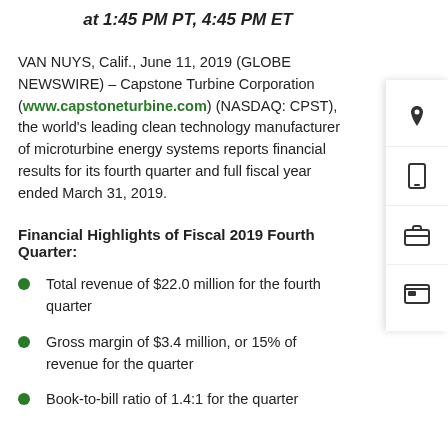at 1:45 PM PT, 4:45 PM ET
VAN NUYS, Calif., June 11, 2019 (GLOBE NEWSWIRE) – Capstone Turbine Corporation (www.capstoneturbine.com) (NASDAQ: CPST), the world's leading clean technology manufacturer of microturbine energy systems reports financial results for its fourth quarter and full fiscal year ended March 31, 2019.
Financial Highlights of Fiscal 2019 Fourth Quarter:
Total revenue of $22.0 million for the fourth quarter
Gross margin of $3.4 million, or 15% of revenue for the quarter
Book-to-bill ratio of 1.4:1 for the quarter